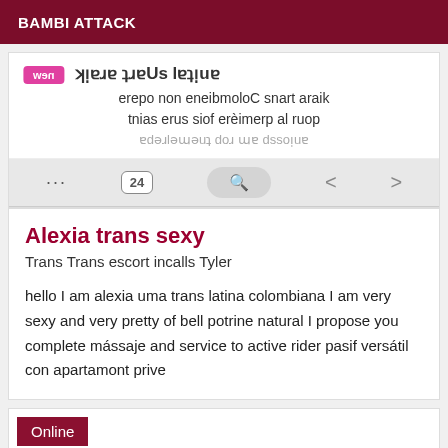BAMBI ATTACK
[Figure (screenshot): Screenshot of a flipped/mirrored browser view showing a trans escort listing with mirrored French text and a browser navigation toolbar]
Alexia trans sexy
Trans Trans escort incalls Tyler
hello I am alexia uma trans latina colombiana I am very sexy and very pretty of bell potrine natural I propose you complete mássaje and service to active rider pasif versátil con apartamont prive
Online